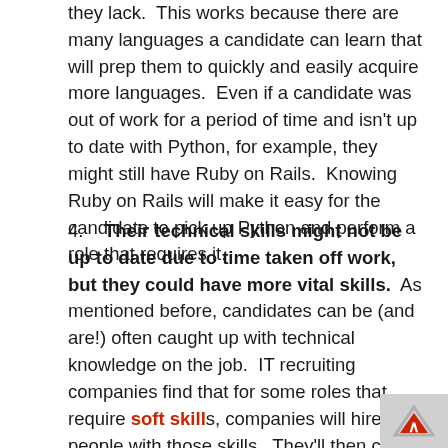they lack.  This works because there are many languages a candidate can learn that will prep them to quickly and easily acquire more languages.  Even if a candidate was out of work for a period of time and isn't up to date with Python, for example, they might still have Ruby on Rails.  Knowing Ruby on Rails will make it easy for the candidate to pick up Python and perform a role that requires it.
4.  Their technical skills might not be up to date due to time taken off work, but they could have more vital skills.  As mentioned before, candidates can be (and are!) often caught up with technical knowledge on the job.  IT recruiting companies find that for some roles that require soft skills, companies will hire people with those skills.  They'll then catch them up on the technical skills they need.  For some roles, like Helpdesk or Sales Engineer, having soft skills is imperative.  It's arguably more important that